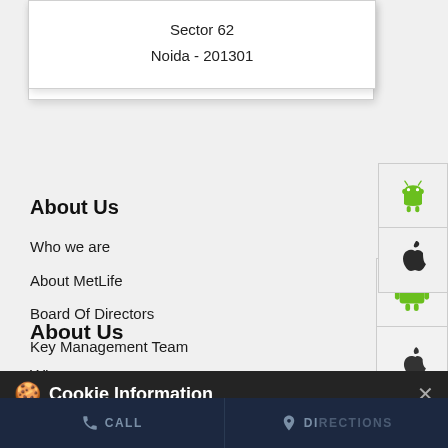Sector 62
Noida - 201301
[Figure (other): Android app icon button]
[Figure (other): Apple iOS app icon button]
About Us
Who we are
About MetLife
Board Of Directors
Key Management Team
Awards and Recognition
Innovations
Newsroom
CSR
Cookie Information
We use cookies to provide you with a great user experience. By using the website, you accept our use of cookies
I ACCEPT
CALL
DIRECTIONS